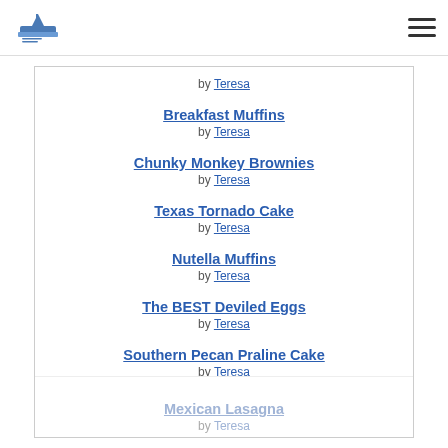Logo and navigation hamburger menu
by Teresa
Breakfast Muffins
by Teresa
Chunky Monkey Brownies
by Teresa
Texas Tornado Cake
by Teresa
Nutella Muffins
by Teresa
The BEST Deviled Eggs
by Teresa
Southern Pecan Praline Cake
by Teresa
Mexican Lasagna
by Teresa